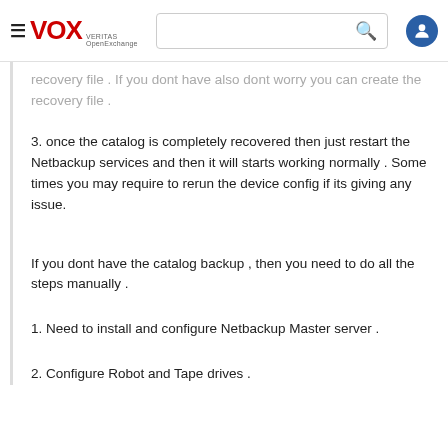VOX VERITAS OpenExchange
recovery file . If you dont have also dont worry you can create the recovery file .
3. once the catalog is completely recovered then just restart the Netbackup services and then it will starts working normally . Some times you may require to rerun the device config if its giving any issue.
If you dont have the catalog backup , then you need to do all the steps manually .
1. Need to install and configure Netbackup Master server .
2. Configure Robot and Tape drives .